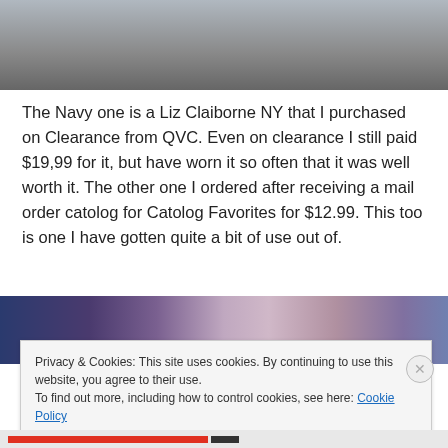[Figure (photo): Top portion of a photo showing a light gray/white surface, possibly a wall or ceiling.]
The Navy one is a Liz Claiborne NY that I purchased on Clearance from QVC.  Even on clearance I still paid $19,99 for it, but have worn it so often that it was well worth it.  The other one I ordered after receiving a mail order catolog for Catolog  Favorites for $12.99.  This too is one I have gotten quite a bit of use out of.
[Figure (photo): Partial photo showing colorful fabric patterns — dark blue/purple on left half and a zigzag/chevron knit pattern in purple and cream on the right half.]
Privacy & Cookies: This site uses cookies. By continuing to use this website, you agree to their use.
To find out more, including how to control cookies, see here: Cookie Policy
Close and accept